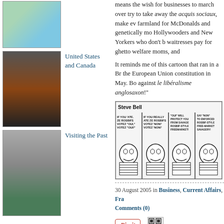[Figure (photo): Thumbnail image of a map illustration]
[Figure (photo): Thumbnail of Grauman's Chinese Theatre with crowds]
United States and Canada
[Figure (photo): Thumbnail of an old stone building courtyard]
Visiting the Past
JUST FUN
Reggie Darling
Love and knuckles
Criggo
Typos and weird newspaper stuff from all over
means the wish for businesses to march over try to take away the acquis sociaux, make ev farmland for McDonalds and genetically mo Hollywooders and New Yorkers who don't b waitresses pay for ghetto welfare moms, and
It reminds me of this cartoon that ran in a Br the European Union constitution in May. Bo against le libéralisme anglosaxon!"
[Figure (illustration): Steve Bell cartoon about the European Union constitution vote, showing French characters debating le libéralisme anglosaxon]
30 August 2005 in Business, Current Affairs, Fra Comments (0)
[Figure (other): Pin it button]
[Figure (other): QR code icon]
Who's en colère This Week?